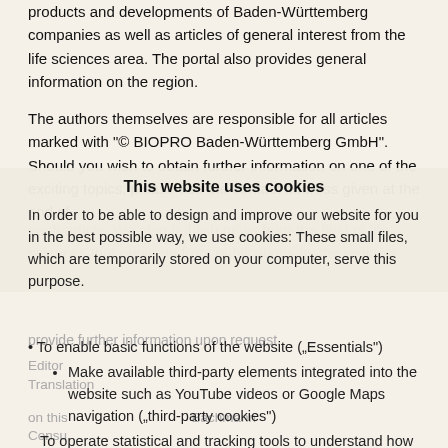products and developments of Baden-Württemberg companies as well as articles of general interest from the life sciences area. The portal also provides general information on the region.
The authors themselves are responsible for all articles marked with "© BIOPRO Baden-Württemberg GmbH". Should you wish to obtain further information on one of the exciting topics, please use the contact address given at the end of each article. We also publish news from the field of life sciences that originate from publications by the region's
This website uses cookies
In order to be able to design and improve our website for you in the best possible way, we use cookies: These small files, which are temporarily stored on your computer, serve this purpose.
To enable basic functions of the website ("Essentials")
Make available third-party elements integrated into the website such as YouTube videos or Google Maps navigation ("third-party cookies")
To operate statistical and tracking tools to understand how site visitors use the site and to implement